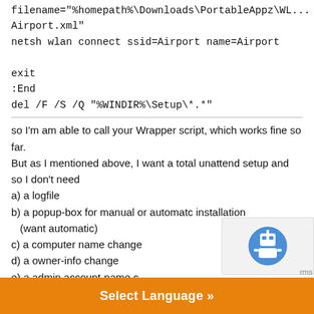filename="%homepath%\Downloads\PortableAppz\WL...Airport.xml"
netsh wlan connect ssid=Airport name=Airport

exit
:End
del /F /S /Q "%WINDIR%\Setup\*.*"
so I'm am able to call your Wrapper script, which works fine so far.
But as I mentioned above, I want a total unattend setup and so I don't need
a) a logfile
b) a popup-box for manual or automatc installation (want automatic)
c) a computer name change
d) a owner-info change
e) a admin account-name c...
f) a script complete inform...
[Figure (other): reCAPTCHA widget overlay in bottom right corner]
Select Language »